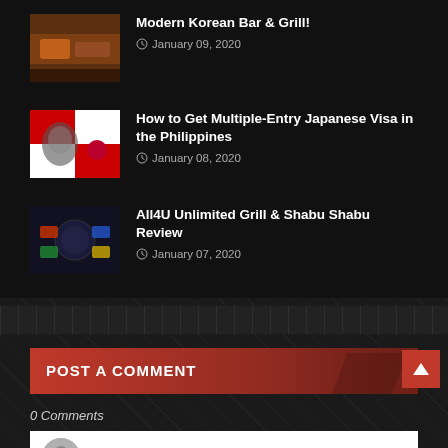Modern Korean Bar & Grill! — January 09, 2020
How to Get Multiple-Entry Japanese Visa in the Philippines — January 08, 2020
All4U Unlimited Grill & Shabu Shabu Review — January 07, 2020
POST A COMMENT
0 Comments
Enter Comment